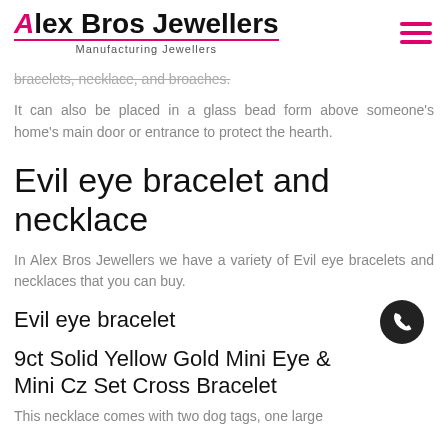Alex Bros Jewellers — Manufacturing Jewellers
bracelets, necklace, and broaches.
It can also be placed in a glass bead form above someone's home's main door or entrance to protect the hearth.
Evil eye bracelet and necklace
In Alex Bros Jewellers we have a variety of Evil eye bracelets and necklaces that you can buy.
Evil eye bracelet
9ct Solid Yellow Gold Mini Eye & Mini Cz Set Cross Bracelet
This necklace comes with two dog tags, one large